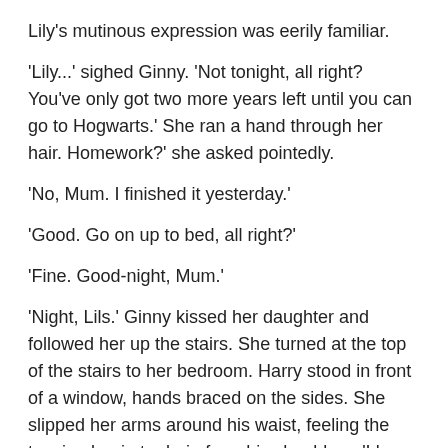Lily's mutinous expression was eerily familiar.
'Lily...' sighed Ginny. 'Not tonight, all right? You've only got two more years left until you can go to Hogwarts.' She ran a hand through her hair. Homework?' she asked pointedly.
'No, Mum. I finished it yesterday.'
'Good. Go on up to bed, all right?'
'Fine. Good-night, Mum.'
'Night, Lils.' Ginny kissed her daughter and followed her up the stairs. She turned at the top of the stairs to her bedroom. Harry stood in front of a window, hands braced on the sides. She slipped her arms around his waist, feeling the tension begin to drain from his shoulders. 'I know why it bothers you, but you knew we'd have to do this eventually...'
Harry sighed and turned to face Ginny, as he perched on